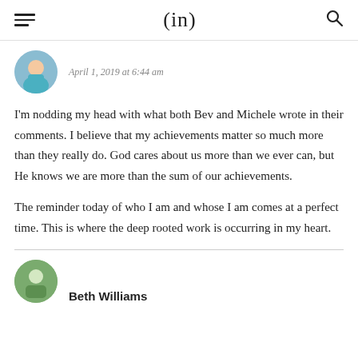(in)
April 1, 2019 at 6:44 am
I'm nodding my head with what both Bev and Michele wrote in their comments. I believe that my achievements matter so much more than they really do. God cares about us more than we ever can, but He knows we are more than the sum of our achievements.

The reminder today of who I am and whose I am comes at a perfect time. This is where the deep rooted work is occurring in my heart.
Beth Williams